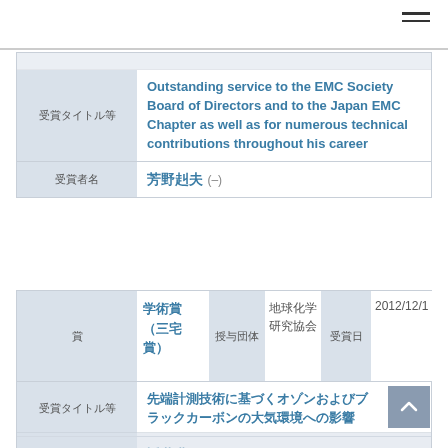| 受賞タイトル等 | Outstanding service to the EMC Society Board of Directors and to the Japan EMC Chapter as well as for numerous technical contributions throughout his career |
| --- | --- |
| 受賞者名 | 芳野赳夫 (–) |
| 賞 | 学術賞（三宅賞） | 授与団体 | 地球化学研究協会 | 受賞日 | 2012/12/1 |
| --- | --- | --- | --- | --- | --- |
| 受賞タイトル等 | 先端計測技術に基づくオゾンおよびブラックカーボンの大気環境への影響 |
| 受賞者名 | 近藤豊 (東京大学) |